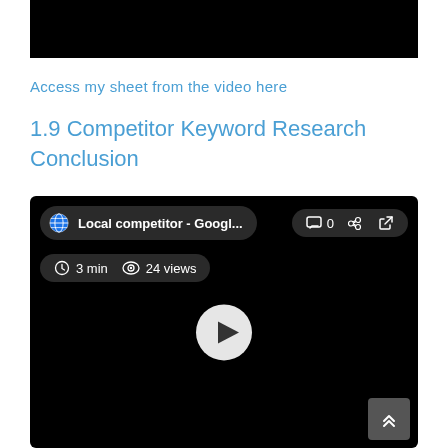[Figure (screenshot): Black video thumbnail bar at top of page]
Access my sheet from the video here
1.9 Competitor Keyword Research Conclusion
[Figure (screenshot): Embedded video player with dark background showing 'Local competitor - Googl...' title pill, action icons (comment 0, link, share), meta info (3 min, 24 views), and a play button in the center]